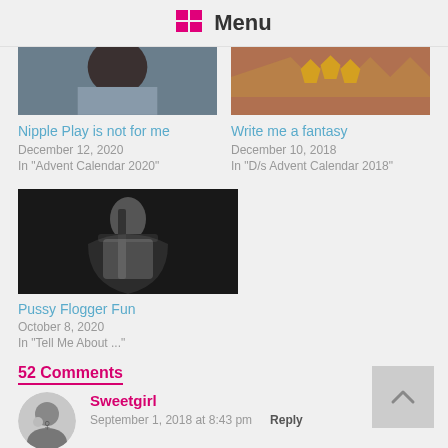Menu
[Figure (photo): Cropped image top left - dark tones, person]
Nipple Play is not for me
December 12, 2020
In "Advent Calendar 2020"
[Figure (photo): Cropped image top right - reddish/gold tones]
Write me a fantasy
December 10, 2018
In "D/s Advent Calendar 2018"
[Figure (photo): Black and white photo of a person]
Pussy Flogger Fun
October 8, 2020
In "Tell Me About ..."
52 Comments
Sweetgirl
September 1, 2018 at 8:43 pm
Reply